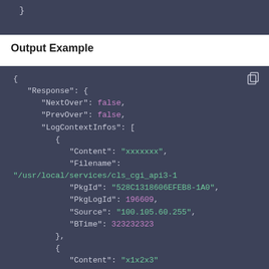[Figure (screenshot): Dark code block showing closing brace of JSON]
Output Example
[Figure (screenshot): Dark code block showing JSON output example with Response object containing NextOver: false, PrevOver: false, LogContextInfos array with objects containing Content, Filename, PkgId, PkgLogId, Source, BTime fields]